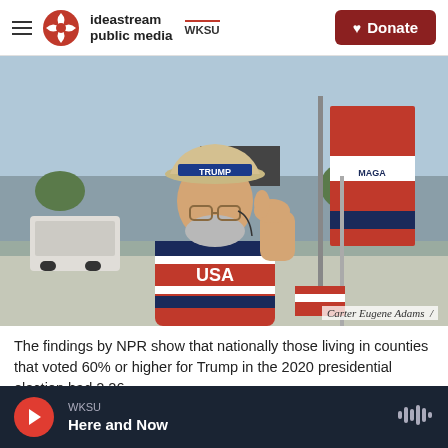ideastream public media | WKSU | Donate
[Figure (photo): A man wearing a cowboy hat with 'TRUMP' written on it, a USA jersey, and glasses, giving a thumbs up and holding flags including red campaign flags, standing outdoors near a street.]
Carter Eugene Adams /
The findings by NPR show that nationally those living in counties that voted 60% or higher for Trump in the 2020 presidential election had 2.26
WKSU | Here and Now